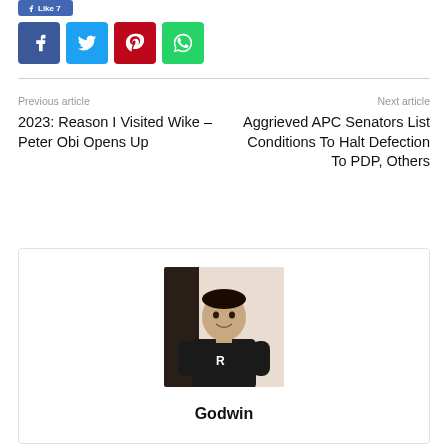[Figure (other): Social share bar with Facebook Like button and social media icons: Facebook (blue), Twitter (cyan), Pinterest (red), WhatsApp (green)]
Previous article
2023: Reason I Visited Wike – Peter Obi Opens Up
Next article
Aggrieved APC Senators List Conditions To Halt Defection To PDP, Others
[Figure (photo): Portrait photo of a young man in a black t-shirt, standing indoors]
Godwin